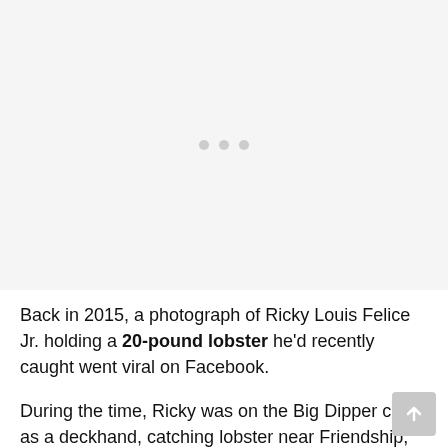[Figure (photo): Loading placeholder with three grey dots centered on a light grey background, indicating an image is loading.]
Back in 2015, a photograph of Ricky Louis Felice Jr. holding a 20-pound lobster he'd recently caught went viral on Facebook.
During the time, Ricky was on the Big Dipper crew as a deckhand, catching lobster near Friendship,